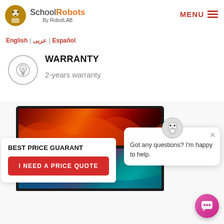[Figure (logo): SchoolRobots by RobotLAB logo with robot icon]
MENU
English | عربی | Español
WARRANTY
2-years warranty
[Figure (photo): Large display screen showing colorful abstract imagery - red/orange swirls on top, teal/purple feathers on bottom]
BEST PRICE GUARANT...
I NEED A PRICE QUOTE
Got any questions? I'm happy to help.